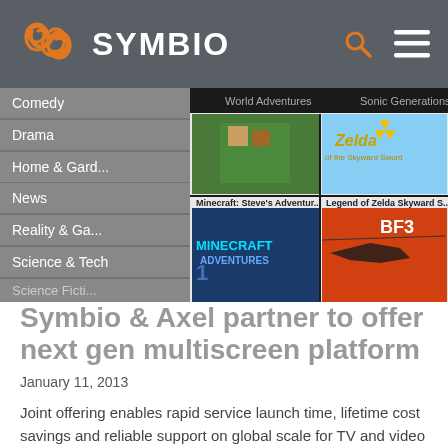SYMBIO
[Figure (screenshot): Screenshot of a video streaming interface showing category menu (Comedy, Drama, Home & Gard..., News, Reality & Ga..., Science & Tech) on left side, and video thumbnails including Minecraft: Steve's Adventur..., Legend of Zelda Skyward S..., and other game/video content on the right. Top bar shows partial titles: World Adventures, Sonic Generations.]
Symbio & Axel partner to offer next gen multiscreen platform
January 11, 2013
Joint offering enables rapid service launch time, lifetime cost savings and reliable support on global scale for TV and video service providers.